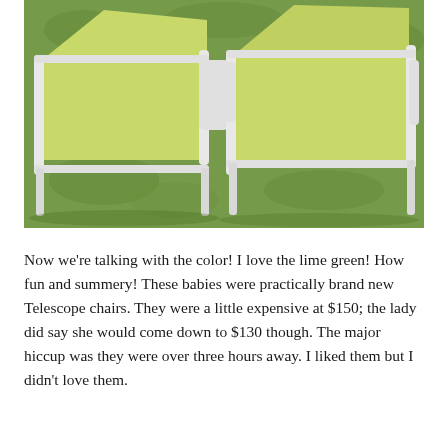[Figure (photo): Two lime green and white metal Telescope brand lounge chairs sitting on green grass outdoors, photographed from a slightly elevated angle.]
Now we're talking with the color! I love the lime green! How fun and summery! These babies were practically brand new Telescope chairs. They were a little expensive at $150; the lady did say she would come down to $130 though. The major hiccup was they were over three hours away. I liked them but I didn't love them.